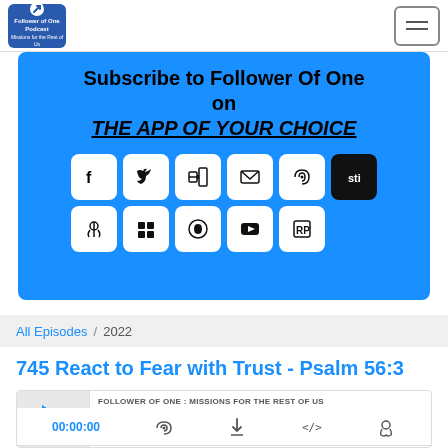[Figure (logo): Follower of One podcast logo in blue square, with arrow icon]
[Figure (infographic): Hamburger menu icon, three lines in a bordered box]
Subscribe to Follower Of One on THE APP OF YOUR CHOICE
[Figure (infographic): Social media icon buttons: Facebook, Twitter, LinkedIn, Email, RSS, and another icon in row 1; Podcasts, another icon, Spotify, YouTube, another icon in row 2]
All Episodes / 2022
745 React to Fear with Trust - Psalm 56:3
FOLLOWER OF ONE : MISSIONS FOR THE REST OF US
745 React to Fear with Trust - Psalm 56:3
00:00:00